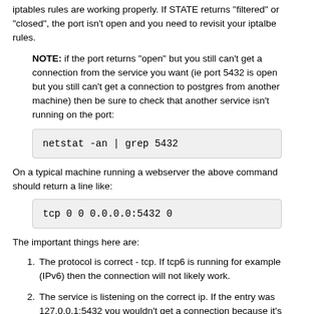iptables rules are working properly. If STATE returns "filtered" or "closed", the port isn't open and you need to revisit your iptalbe rules.
NOTE: if the port returns "open" but you still can't get a connection from the service you want (ie port 5432 is open but you still can't get a connection to postgres from another machine) then be sure to check that another service isn't running on the port:
netstat -an | grep 5432
On a typical machine running a webserver the above command should return a line like:
tcp        0      0 0.0.0.0:5432            0
The important things here are:
The protocol is correct - tcp. If tcp6 is running for example (IPv6) then the connection will not likely work.
The service is listening on the correct ip. If the entry was 127.0.0.1:5432 you wouldn't get a connection because it's only listening to the localhost. 0.0.0.0:5432 or the machine's public IP are acceptable.
The service is listening for connections from where ever you're trying to connect from. In this case it will take a connection from anywhere (0.0.0.0:*). It's important to